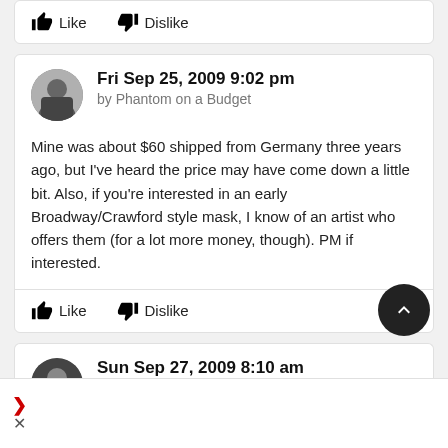Like  Dislike
Fri Sep 25, 2009 9:02 pm
by Phantom on a Budget
Mine was about $60 shipped from Germany three years ago, but I've heard the price may have come down a little bit. Also, if you're interested in an early Broadway/Crawford style mask, I know of an artist who offers them (for a lot more money, though). PM if interested.
Like  Dislike
Sun Sep 27, 2009 8:10 am
by phantomgirl110
Ok, does anyone have any tips for finding specific fabrics? It turns out that fuscia/pink non-Asian-inspired brocades are